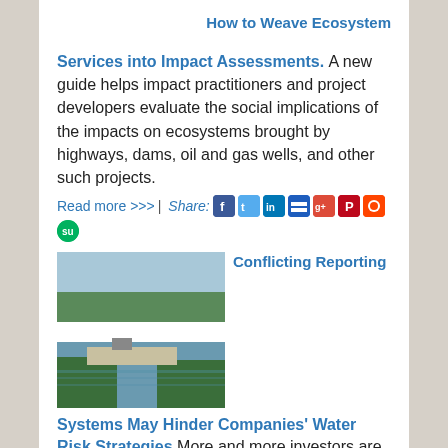How to Weave Ecosystem
Services into Impact Assessments. A new guide helps impact practitioners and project developers evaluate the social implications of the impacts on ecosystems brought by highways, dams, oil and gas wells, and other such projects.
Read more >>> | Share:
[Figure (photo): River scene with barge and forested banks]
Conflicting Reporting Systems May Hinder Companies' Water Risk Strategies.
More and more investors are clamoring